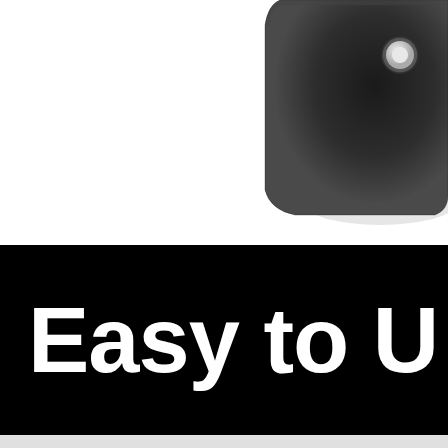[Figure (photo): Black and white photo showing the corner of a dark leather/fabric object (appears to be a wallet or small device case) against a white background, positioned in the upper right area of the frame.]
Easy to U